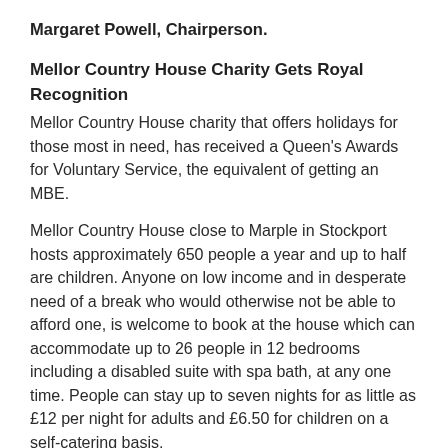Margaret Powell, Chairperson.
Mellor Country House Charity Gets Royal Recognition
Mellor Country House charity that offers holidays for those most in need, has received a Queen's Awards for Voluntary Service, the equivalent of getting an MBE.
Mellor Country House close to Marple in Stockport hosts approximately 650 people a year and up to half are children. Anyone on low income and in desperate need of a break who would otherwise not be able to afford one, is welcome to book at the house which can accommodate up to 26 people in 12 bedrooms including a disabled suite with spa bath, at any one time. People can stay up to seven nights for as little as £12 per night for adults and £6.50 for children on a self-catering basis.
Chair of the charity, Margaret Powell and house manager, Sharon Adamson, were invited to Buckingham Place to a royal garden party to celebrate their organisation's achievement.